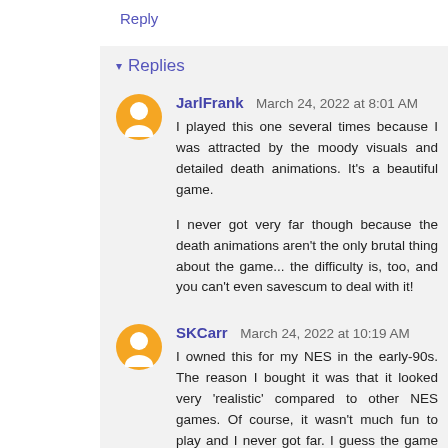Reply
▾ Replies
JarlFrank  March 24, 2022 at 8:01 AM
I played this one several times because I was attracted by the moody visuals and detailed death animations. It's a beautiful game.

I never got very far though because the death animations aren't the only brutal thing about the game... the difficulty is, too, and you can't even savescum to deal with it!
SKCarr  March 24, 2022 at 10:19 AM
I owned this for my NES in the early-90s. The reason I bought it was that it looked very 'realistic' compared to other NES games. Of course, it wasn't much fun to play and I never got far. I guess the game was easy to market because of its graphics, but...